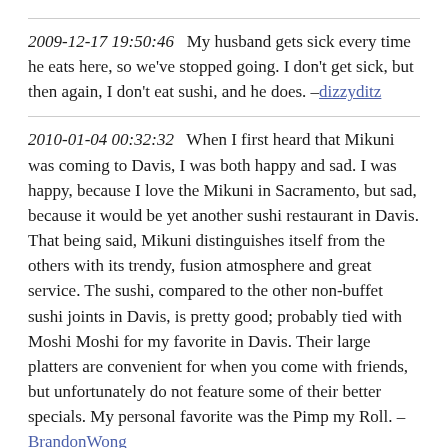2009-12-17 19:50:46   My husband gets sick every time he eats here, so we've stopped going. I don't get sick, but then again, I don't eat sushi, and he does. –dizzydit
2010-01-04 00:32:32   When I first heard that Mikuni was coming to Davis, I was both happy and sad. I was happy, because I love the Mikuni in Sacramento, but sad, because it would be yet another sushi restaurant in Davis. That being said, Mikuni distinguishes itself from the others with its trendy, fusion atmosphere and great service. The sushi, compared to the other non-buffet sushi joints in Davis, is pretty good; probably tied with Moshi Moshi for my favorite in Davis. Their large platters are convenient for when you come with friends, but unfortunately do not feature some of their better specials. My personal favorite was the Pimp my Roll. –BrandonWong